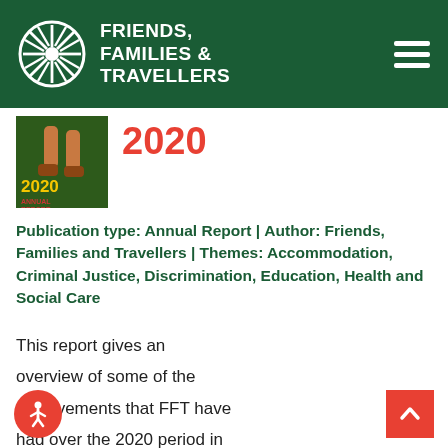Friends, Families & Travellers
2020
Publication type: Annual Report | Author: Friends, Families and Travellers | Themes: Accommodation, Criminal Justice, Discrimination, Education, Health and Social Care
This report gives an overview of some of the achievements that FFT have had over the 2020 period in supporting Gypsies, Roma and Travellers by providing practical advice and legal